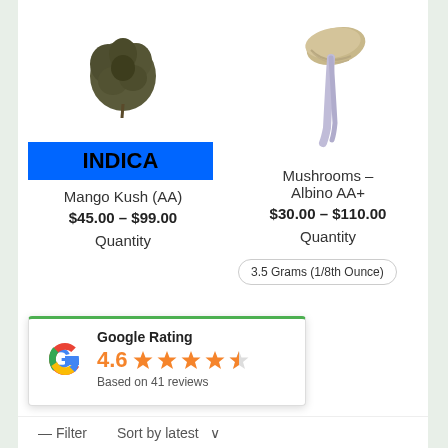[Figure (photo): Cannabis bud (Mango Kush) product photo]
[Figure (photo): Mushroom (Albino AA+) product photo]
INDICA
Mango Kush (AA)
$45.00 – $99.00
Quantity
Mushrooms – Albino AA+
$30.00 – $110.00
Quantity
3.5 Grams (1/8th Ounce)
Google Rating
4.6
Based on 41 reviews
Filter  Sort by latest